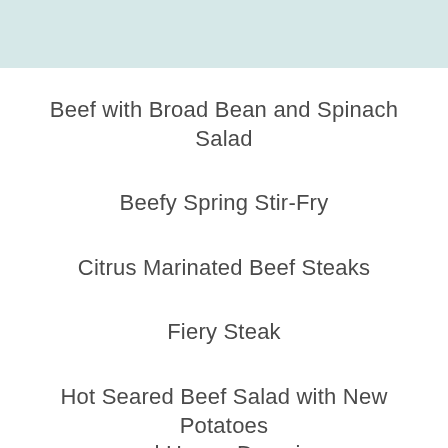Beef with Broad Bean and Spinach Salad
Beefy Spring Stir-Fry
Citrus Marinated Beef Steaks
Fiery Steak
Hot Seared Beef Salad with New Potatoes and Honey Dressing